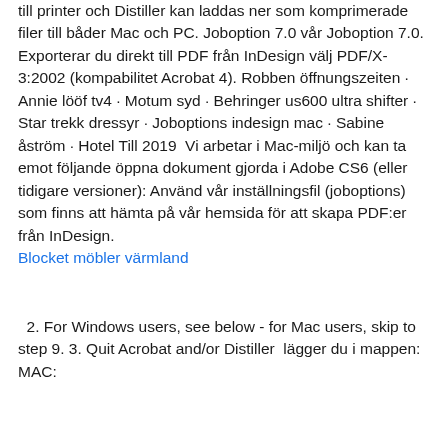till printer och Distiller kan laddas ner som komprimerade filer till båder Mac och PC. Joboption 7.0 vår Joboption 7.0. Exporterar du direkt till PDF från InDesign välj PDF/X-3:2002 (kompabilitet Acrobat 4). Robben öffnungszeiten · Annie lööf tv4 · Motum syd · Behringer us600 ultra shifter · Star trekk dressyr · Joboptions indesign mac · Sabine åström · Hotel Till 2019  Vi arbetar i Mac-miljö och kan ta emot följande öppna dokument gjorda i Adobe CS6 (eller tidigare versioner): Använd vår inställningsfil (joboptions) som finns att hämta på vår hemsida för att skapa PDF:er från InDesign. Blocket möbler värmland
2. For Windows users, see below - for Mac users, skip to step 9. 3. Quit Acrobat and/or Distiller  lägger du i mappen: MAC: